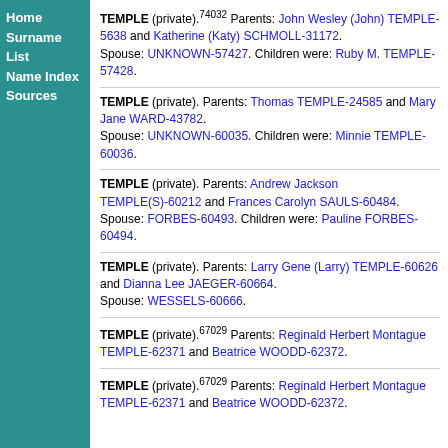Home
Surname List
Name Index
Sources
TEMPLE (private).74032 Parents: John Wesley (John) TEMPLE-5638 and Katherine (Katy) SCHMOLL-31172. Spouse: UNKNOWN-57427. Children were: Ruby M. TEMPLE-57428.
TEMPLE (private). Parents: Thomas TEMPLE-24585 and Mary Jane WARD-43782. Spouse: UNKNOWN-60035. Children were: Minnie TEMPLE-60036.
TEMPLE (private). Parents: Andrew Jackson TEMPLE(S)-60212 and Frances Carolyn SAULS-60484. Spouse: FORBES-60493. Children were: Pauline FORBES-60494.
TEMPLE (private). Parents: Larry Gene (Larry) TEMPLE-60626 and Dianna Lee JAEGER-60664. Spouse: WESSELS-60666.
TEMPLE (private).67029 Parents: Reginald Herbert Montague TEMPLE-62371 and Beatrice WOODD-62372.
TEMPLE (private).67029 Parents: Reginald Herbert Montague TEMPLE-62371 and Beatrice WOODD-62372.